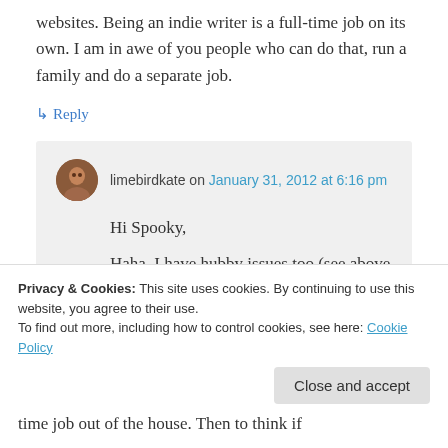websites. Being an indie writer is a full-time job on its own. I am in awe of you people who can do that, run a family and do a separate job.
↳ Reply
limebirdkate on January 31, 2012 at 6:16 pm
Hi Spooky,
Haha–I have hubby issues too (see above
Privacy & Cookies: This site uses cookies. By continuing to use this website, you agree to their use.
To find out more, including how to control cookies, see here: Cookie Policy
Close and accept
time job out of the house. Then to think if